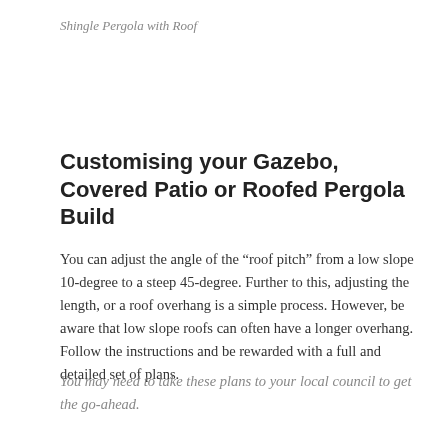Shingle Pergola with Roof
Customising your Gazebo, Covered Patio or Roofed Pergola Build
You can adjust the angle of the “roof pitch” from a low slope 10-degree to a steep 45-degree. Further to this, adjusting the length, or a roof overhang is a simple process. However, be aware that low slope roofs can often have a longer overhang. Follow the instructions and be rewarded with a full and detailed set of plans.
You may need to take these plans to your local council to get the go-ahead.